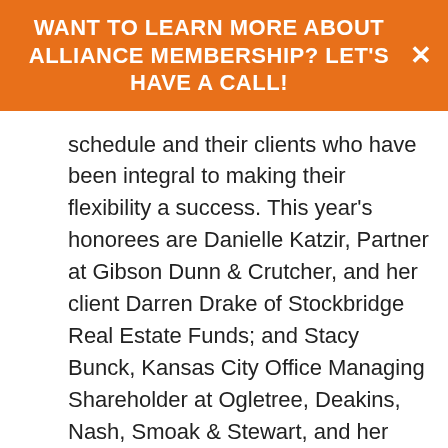WANT TO LEARN MORE ABOUT ALLIANCE MEMBERSHIP? LET'S HAVE A CALL!
schedule and their clients who have been integral to making their flexibility a success. This year's honorees are Danielle Katzir, Partner at Gibson Dunn & Crutcher, and her client Darren Drake of Stockbridge Real Estate Funds; and Stacy Bunck, Kansas City Office Managing Shareholder at Ogletree, Deakins, Nash, Smoak & Stewart, and her client, the late Rafael Medina of McDonald's Corporation. (See detailed press release here.)
The Diversity & Flexibility Alliance is a think tank that collaborates with organizations to develop non-stigmatized flexible work policies that